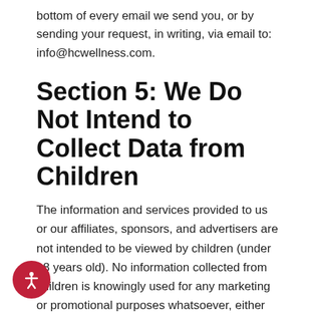bottom of every email we send you, or by sending your request, in writing, via email to: info@hcwellness.com.
Section 5: We Do Not Intend to Collect Data from Children
The information and services provided to us or our affiliates, sponsors, and advertisers are not intended to be viewed by children (under 18 years old). No information collected from children is knowingly used for any marketing or promotional purposes whatsoever, either inside or outside HeartlandWellnessCenter.com. No part of HeartlandWellnessCenter.com web site